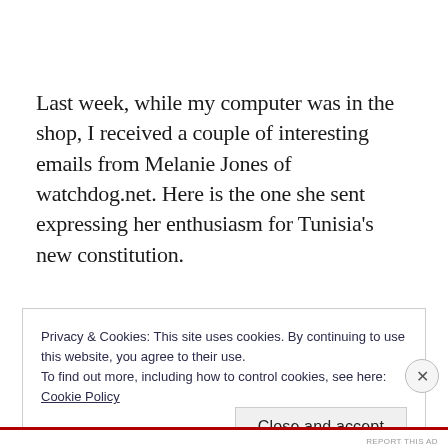Last week, while my computer was in the shop, I received a couple of interesting emails from Melanie Jones of watchdog.net. Here is the one she sent expressing her enthusiasm for Tunisia's new constitution.
Privacy & Cookies: This site uses cookies. By continuing to use this website, you agree to their use.
To find out more, including how to control cookies, see here: Cookie Policy
REPORT THIS AD